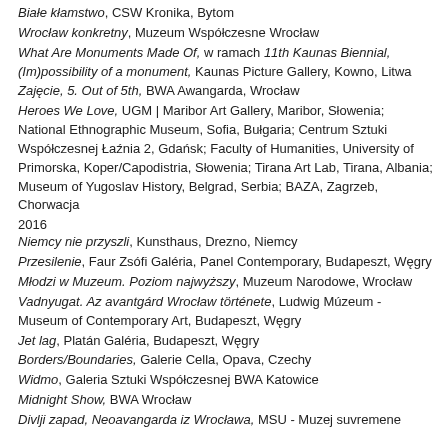Białe kłamstwo, CSW Kronika, Bytom
Wrocław konkretny, Muzeum Współczesne Wrocław
What Are Monuments Made Of, w ramach 11th Kaunas Biennial, (Im)possibility of a monument, Kaunas Picture Gallery, Kowno, Litwa
Zajęcie, 5. Out of 5th, BWA Awangarda, Wrocław
Heroes We Love, UGM | Maribor Art Gallery, Maribor, Słowenia; National Ethnographic Museum, Sofia, Bułgaria; Centrum Sztuki Współczesnej Łaźnia 2, Gdańsk; Faculty of Humanities, University of Primorska, Koper/Capodistria, Słowenia; Tirana Art Lab, Tirana, Albania; Museum of Yugoslav History, Belgrad, Serbia; BAZA, Zagrzeb, Chorwacja
2016
Niemcy nie przyszli, Kunsthaus, Drezno, Niemcy
Przesilenie, Faur Zsófi Galéria, Panel Contemporary, Budapeszt, Węgry
Młodzi w Muzeum. Poziom najwyższy, Muzeum Narodowe, Wrocław
Vadnyugat. Az avantgárd Wrocław története, Ludwig Múzeum - Museum of Contemporary Art, Budapeszt, Węgry
Jet lag, Platán Galéria, Budapeszt, Węgry
Borders/Boundaries, Galerie Cella, Opava, Czechy
Widmo, Galeria Sztuki Współczesnej BWA Katowice
Midnight Show, BWA Wrocław
Divlji zapad, Neoavangarda iz Wrocława, MSU - Muzej suvremene